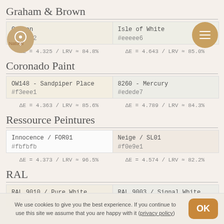Graham & Brown
| Cotton
#f1ede2
ΔE = 4.325 / LRV ≈ 84.8% | Isle of White
#eeeee6
ΔE = 4.643 / LRV ≈ 85.0% |
Coronado Paint
| OW148 - Sandpiper Place
#f3eee1
ΔE = 4.363 / LRV ≈ 85.6% | 8260 - Mercury
#edede7
ΔE = 4.789 / LRV ≈ 84.3% |
Ressource Peintures
| Innocence / FOR01
#fbfbfb
ΔE = 4.373 / LRV ≈ 96.5% | Neige / SL01
#f0e9e1
ΔE = 4.574 / LRV ≈ 82.2% |
RAL
| RAL 9010 / Pure White
#f1ece1 | RAL 9003 / Signal White
#ecece7 |
We use cookies to give you the best experience. If you continue to use this site we assume that you are happy with it (privacy policy)